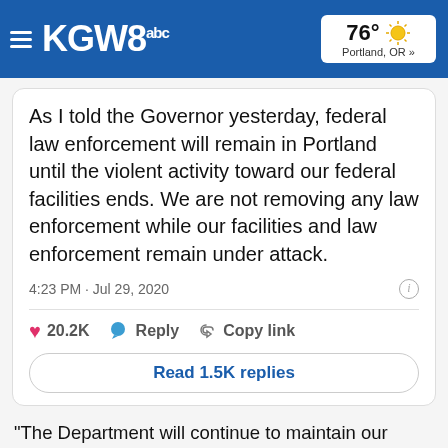KGW8 | 76° Portland, OR »
As I told the Governor yesterday, federal law enforcement will remain in Portland until the violent activity toward our federal facilities ends. We are not removing any law enforcement while our facilities and law enforcement remain under attack.
4:23 PM · Jul 29, 2020
20.2K  Reply  Copy link
Read 1.5K replies
"The Department will continue to maintain our current, augmented federal law enforcement personnel in Portland until we are assured that the Hatfield Federal Courthouse and other federal properties will no longer be attacked and